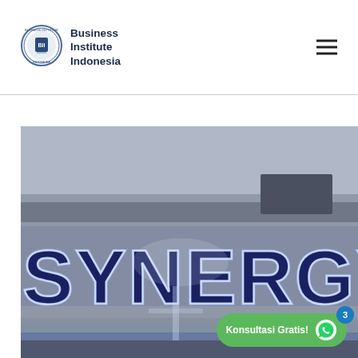[Figure (logo): Business Institute Indonesia circular seal logo with BII text]
Business Institute Indonesia
[Figure (photo): Photo of illuminated SYNERGY signage letters on a building facade, large blue backlit letters on a metal/glass wall]
Konsultasi Gratis!